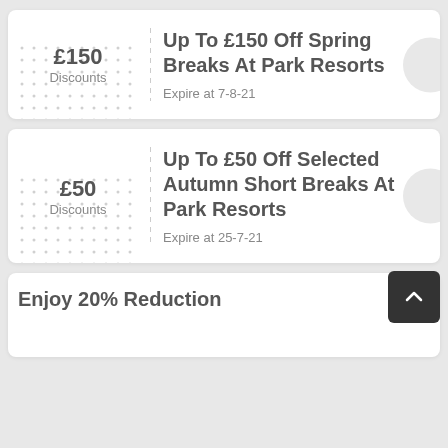£150 Discounts
Up To £150 Off Spring Breaks At Park Resorts
Expire at 7-8-21
£50 Discounts
Up To £50 Off Selected Autumn Short Breaks At Park Resorts
Expire at 25-7-21
Enjoy 20% Reduction